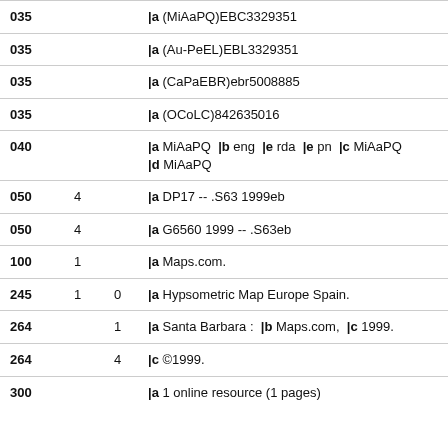| Tag | Ind1 | Ind2 | Subfields |
| --- | --- | --- | --- |
| 035 |  |  | |a (MiAaPQ)EBC3329351 |
| 035 |  |  | |a (Au-PeEL)EBL3329351 |
| 035 |  |  | |a (CaPaEBR)ebr5008885 |
| 035 |  |  | |a (OCoLC)842635016 |
| 040 |  |  | |a MiAaPQ  |b eng  |e rda  |e pn  |c MiAaPQ |d MiAaPQ |
| 050 | 4 |  | |a DP17 -- .S63 1999eb |
| 050 | 4 |  | |a G6560 1999 -- .S63eb |
| 100 | 1 |  | |a Maps.com. |
| 245 | 1 | 0 | |a Hypsometric Map Europe Spain. |
| 264 |  | 1 | |a Santa Barbara :  |b Maps.com,  |c 1999. |
| 264 |  | 4 | |c ©1999. |
| 300 |  |  | |a 1 online resource (1 pages) |